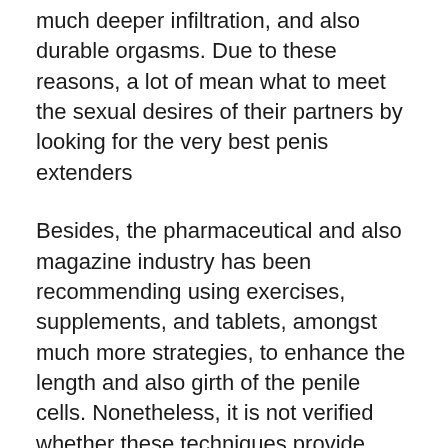much deeper infiltration, and also durable orgasms. Due to these reasons, a lot of mean what to meet the sexual desires of their partners by looking for the very best penis extenders
Besides, the pharmaceutical and also magazine industry has been recommending using exercises, supplements, and tablets, amongst much more strategies, to enhance the length and also girth of the penile cells. Nonetheless, it is not verified whether these techniques provide superior performance. In the past years' males raised the size of their penis via penis augmentation surgical procedure and even penile traction therapy. Thankfully, doctors have confirmed that